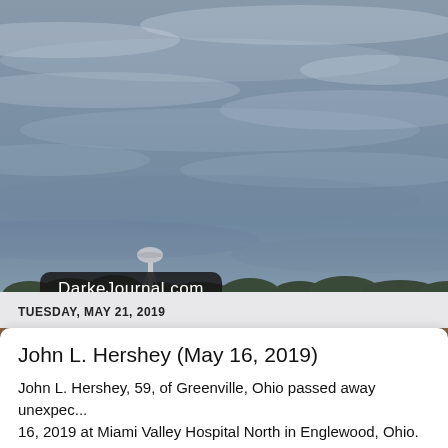[Figure (photo): Outdoor landscape photo showing a wide flat agricultural field under a large overcast sky with dramatic grey-blue clouds. On the horizon there is a tree line and a water tower visible on the left side. The field in the foreground appears to be a reddish-brown tilled field.]
DarkeJournal.com
TUESDAY, MAY 21, 2019
John L. Hershey (May 16, 2019)
John L. Hershey, 59, of Greenville, Ohio passed away unexpec... 16, 2019 at Miami Valley Hospital North in Englewood, Ohio.